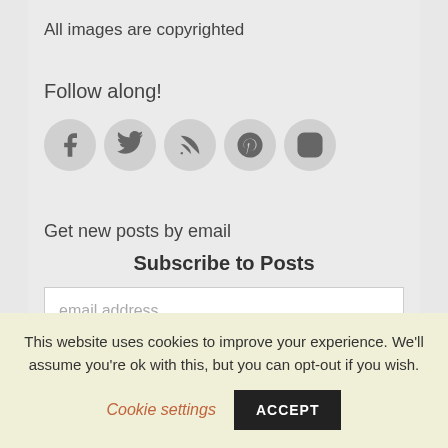All images are copyrighted
Follow along!
[Figure (illustration): Row of five circular social media icon buttons: Facebook, Twitter, RSS, Pinterest, Instagram]
Get new posts by email
Subscribe to Posts
email address
Subscribe
This website uses cookies to improve your experience. We'll assume you're ok with this, but you can opt-out if you wish.
Cookie settings
ACCEPT